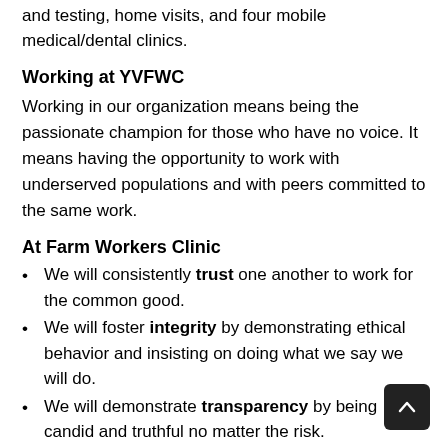and testing, home visits, and four mobile medical/dental clinics.
Working at YVFWC
Working in our organization means being the passionate champion for those who have no voice. It means having the opportunity to work with underserved populations and with peers committed to the same work.
At Farm Workers Clinic
We will consistently trust one another to work for the common good.
We will foster integrity by demonstrating ethical behavior and insisting on doing what we say we will do.
We will demonstrate transparency by being candid and truthful no matter the risk.
We will create partnerships to strengthen ourselves